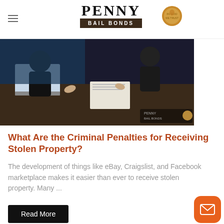PENNY BAIL BONDS
[Figure (photo): People sitting around a table with laptops and documents, discussing something, dark clothing, overhead view]
What Are the Criminal Penalties for Receiving Stolen Property?
The development of things like eBay, Craigslist, and Facebook marketplace makes it easier than ever to receive stolen property. Many ...
Read More
[Figure (photo): Man standing outdoors among trees, talking on phone, wearing light blue shirt]